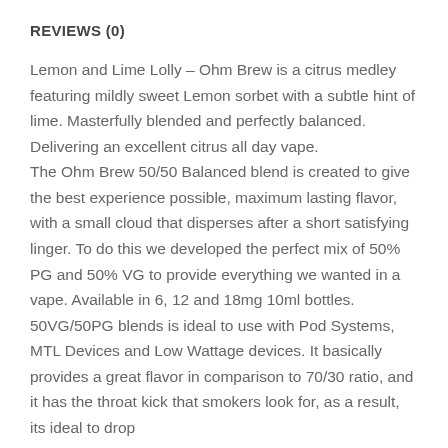REVIEWS (0)
Lemon and Lime Lolly – Ohm Brew is a citrus medley featuring mildly sweet Lemon sorbet with a subtle hint of lime. Masterfully blended and perfectly balanced. Delivering an excellent citrus all day vape.
The Ohm Brew 50/50 Balanced blend is created to give the best experience possible, maximum lasting flavor, with a small cloud that disperses after a short satisfying linger. To do this we developed the perfect mix of 50% PG and 50% VG to provide everything we wanted in a vape. Available in 6, 12 and 18mg 10ml bottles.
50VG/50PG blends is ideal to use with Pod Systems, MTL Devices and Low Wattage devices. It basically provides a great flavor in comparison to 70/30 ratio, and it has the throat kick that smokers look for, as a result, its ideal to drop